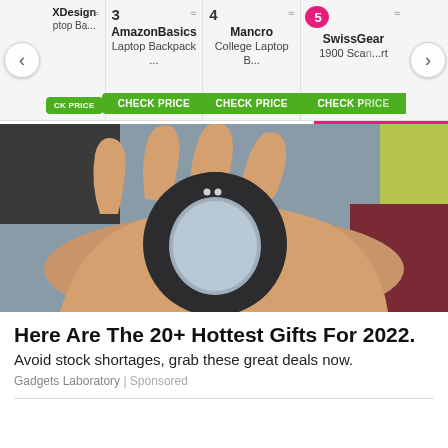[Figure (screenshot): Product carousel showing numbered laptop bag products with Check Price buttons. Items shown: 3-AmazonBasics Laptop Backpack, 4-Mancro College Laptop B..., 5-SwissGear 1900 Scan...rt. Left arrow and right arrow navigation visible. Item 5 has pink circle highlight.]
[Figure (photo): A hand holding a dark gray smart ring with two small LED dots on top, shown against a blurred background.]
Here Are The 20+ Hottest Gifts For 2022.
Avoid stock shortages, grab these great deals now.
Gadgets Laboratory | Sponsored